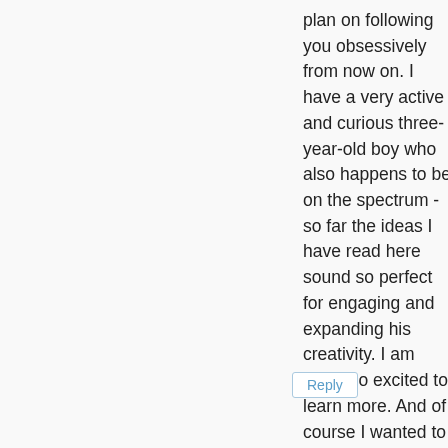plan on following you obsessively from now on. I have a very active and curious three-year-old boy who also happens to be on the spectrum - so far the ideas I have read here sound so perfect for engaging and expanding his creativity. I am really so excited to learn more. And of course I wanted to enter the giveaway. :)
Reply
Replies
Asia Citro
March 28, 2013 at 7:50 AM
Hi Jessica! I'm so glad you found the blog! Oh, I bet he will love some of these activities. :) Sensory play is awesome like that. And consider yourself entered in the giveaway! :)